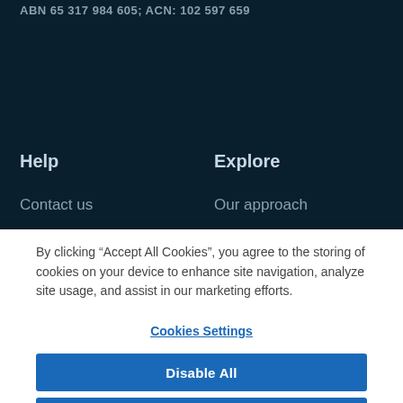ABN 65 317 984 605; ACN: 102 597 659
Help
Explore
Contact us
Our approach
By clicking “Accept All Cookies”, you agree to the storing of cookies on your device to enhance site navigation, analyze site usage, and assist in our marketing efforts.
Cookies Settings
Disable All